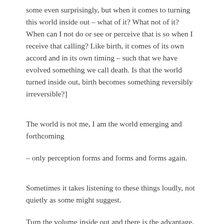some even surprisingly, but when it comes to turning this world inside out – what of it? What not of it? When can I not do or see or perceive that is so when I receive that calling? Like birth, it comes of its own accord and in its own timing – such that we have evolved something we call death. Is that the world turned inside out, birth becomes something reversibly irreversible?]
The world is not me, I am the world emerging and forthcoming
– only perception forms and forms and forms again.
Sometimes it takes listening to these things loudly, not quietly as some might suggest.
Turn the volume inside out and there is the advantage, the